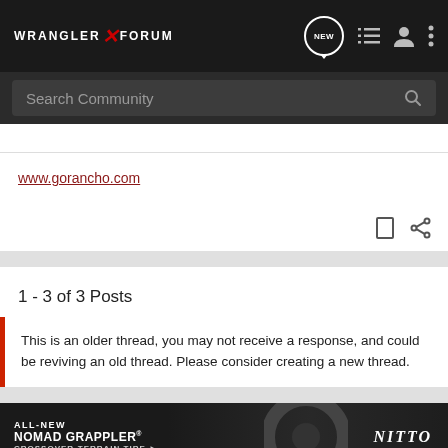WRANGLER FORUM
Search Community
www.gorancho.com
1 - 3 of 3 Posts
This is an older thread, you may not receive a response, and could be reviving an old thread. Please consider creating a new thread.
[Figure (screenshot): Nitto ALL-NEW NOMAD GRAPPLER CROSSOVER-TERRAIN TIRE advertisement banner]